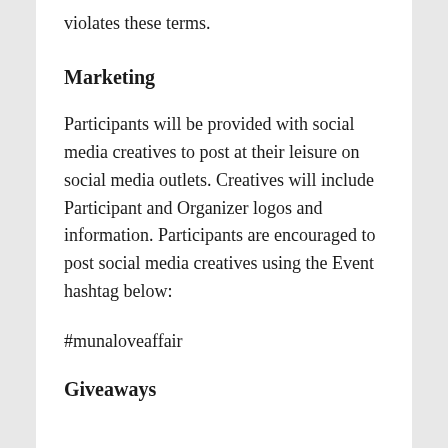violates these terms.
Marketing
Participants will be provided with social media creatives to post at their leisure on social media outlets. Creatives will include Participant and Organizer logos and information. Participants are encouraged to post social media creatives using the Event hashtag below:
#munaloveaffair
Giveaways